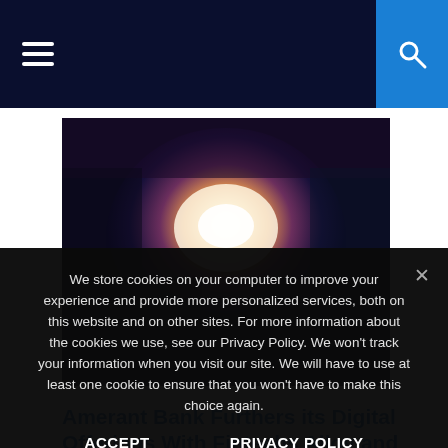Navigation bar with hamburger menu and search button
[Figure (photo): Cupped hands holding a glowing orb of light against a dark background, symbolizing digital offerings or fintech innovation]
Amerant Bank Furthers its Digital Offerings With Fintechs Alloy and Q2
We store cookies on your computer to improve your experience and provide more personalized services, both on this website and on other sites. For more information about the cookies we use, see our Privacy Policy. We won't track your information when you visit our site. We will have to use at least one cookie to ensure that you won't have to make this choice again.
ACCEPT
PRIVACY POLICY